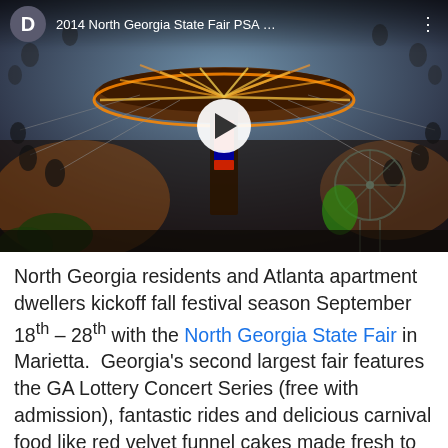[Figure (screenshot): Video thumbnail screenshot of a YouTube-style video player showing a carnival swing ride at night with illuminated lights, riders swinging outward, and a Ferris wheel in the background. Top bar shows channel avatar 'D', title '2014 North Georgia State Fair PSA …', and a three-dot menu. A white play button circle is centered on the image.]
North Georgia residents and Atlanta apartment dwellers kickoff fall festival season September 18th – 28th with the North Georgia State Fair in Marietta.  Georgia's second largest fair features the GA Lottery Concert Series (free with admission), fantastic rides and delicious carnival food like red velvet funnel cakes made fresh to order. Home